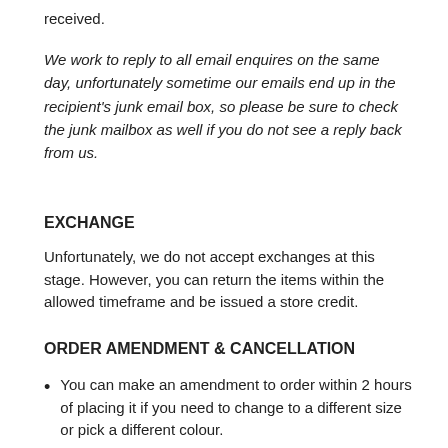received.
We work to reply to all email enquires on the same day, unfortunately sometime our emails end up in the recipient's junk email box, so please be sure to check the junk mailbox as well if you do not see a reply back from us.
EXCHANGE
Unfortunately, we do not accept exchanges at this stage. However, you can return the items within the allowed timeframe and be issued a store credit.
ORDER AMENDMENT & CANCELLATION
You can make an amendment to order within 2 hours of placing it if you need to change to a different size or pick a different colour.